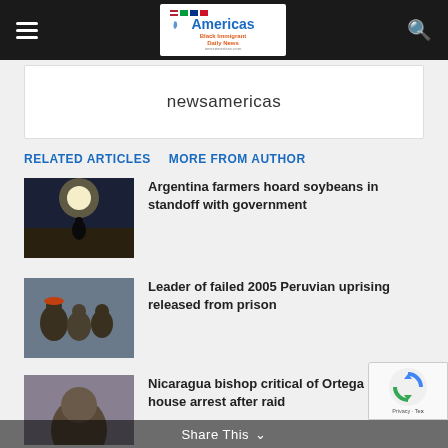Americas Black Immigrant Daily News - newsamericas
newsamericas
RELATED ARTICLES   MORE FROM AUTHOR
[Figure (photo): Person silhouetted against bright sun, outdoors]
Argentina farmers hoard soybeans in standoff with government
[Figure (photo): Group of people embracing outdoors]
Leader of failed 2005 Peruvian uprising released from prison
[Figure (photo): Man's face, partially cropped]
Nicaragua bishop critical of Ortega under house arrest after raid
Share This